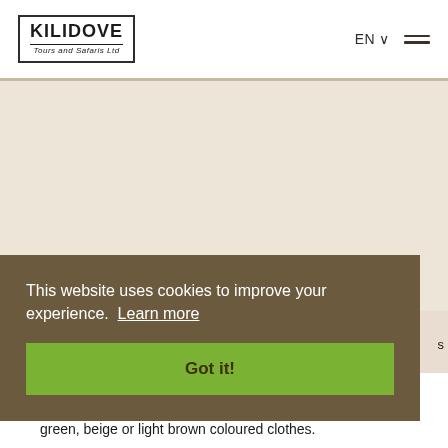KILIDOVE Tours and Safaris Ltd
[Figure (screenshot): Beige/tan background area representing a website content section with left and right dark border stripes]
This website uses cookies to improve your experience.  Learn more
Got it!
green, beige or light brown coloured clothes.